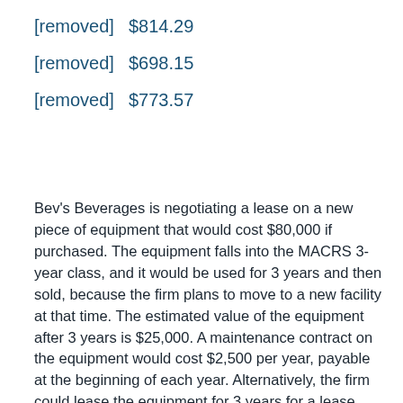[removed]   $814.29
[removed]   $698.15
[removed]   $773.57
Bev's Beverages is negotiating a lease on a new piece of equipment that would cost $80,000 if purchased. The equipment falls into the MACRS 3-year class, and it would be used for 3 years and then sold, because the firm plans to move to a new facility at that time. The estimated value of the equipment after 3 years is $25,000. A maintenance contract on the equipment would cost $2,500 per year, payable at the beginning of each year. Alternatively, the firm could lease the equipment for 3 years for a lease payment of $23,600 per year, payable at the beginning of each year. The lease would include maintenance. The firm is in the 20% tax bracket, and it could